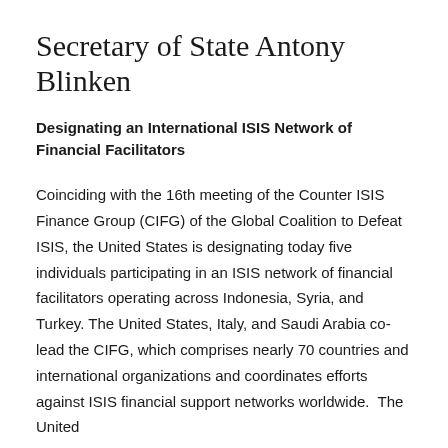Secretary of State Antony Blinken
Designating an International ISIS Network of Financial Facilitators
Coinciding with the 16th meeting of the Counter ISIS Finance Group (CIFG) of the Global Coalition to Defeat ISIS, the United States is designating today five individuals participating in an ISIS network of financial facilitators operating across Indonesia, Syria, and Turkey. The United States, Italy, and Saudi Arabia co-lead the CIFG, which comprises nearly 70 countries and international organizations and coordinates efforts against ISIS financial support networks worldwide. The United